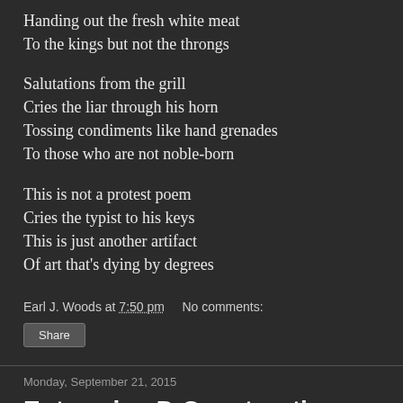Handing out the fresh white meat
To the kings but not the throngs
Salutations from the grill
Cries the liar through his horn
Tossing condiments like hand grenades
To those who are not noble-born
This is not a protest poem
Cries the typist to his keys
This is just another artifact
Of art that's dying by degrees
Earl J. Woods at 7:50 pm   No comments:
Share
Monday, September 21, 2015
Enterprise-D Construction Project
[Figure (photo): Partial image at bottom of page, dark background]